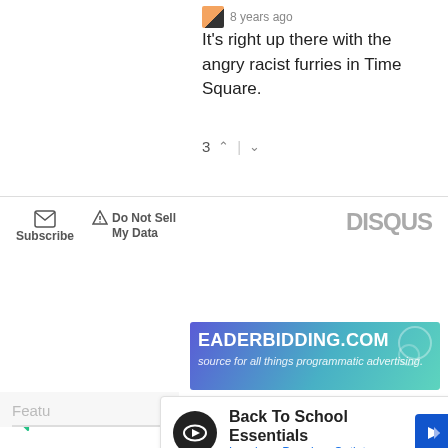8 years ago
It's right up there with the angry racist furries in Time Square.
3 ∧ | ∨
[Figure (screenshot): Disqus footer bar with Subscribe (envelope icon), Do Not Sell My Data (warning icon), and DISQUS brand logo]
[Figure (screenshot): HeaderBidding.com advertisement banner: 'EADERBIDDING.COM - source for all things programmatic advertising.']
[Figure (screenshot): Filter icon (funnel) on left and close (X in circle) icon on right, part of a page toolbar]
[Figure (screenshot): Partially visible 'Featu' section header with line]
[Figure (screenshot): Ad overlay: Back To School Essentials - Leesburg Premium Outlets, with circular logo, navigation arrow icon, and play/close icons at bottom left]